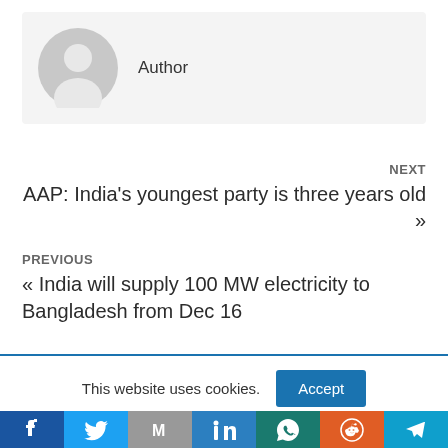[Figure (illustration): Author avatar placeholder — grey silhouette of a person]
Author
NEXT
AAP: India's youngest party is three years old »
PREVIOUS
« India will supply 100 MW electricity to Bangladesh from Dec 16
This website uses cookies.
[Figure (infographic): Social sharing bar with Facebook, Twitter, Gmail, LinkedIn, WhatsApp, Reddit, and Telegram icons]